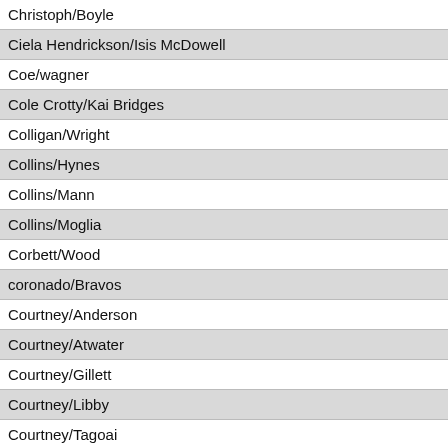Christoph/Boyle
Ciela Hendrickson/Isis McDowell
Coe/wagner
Cole Crotty/Kai Bridges
Colligan/Wright
Collins/Hynes
Collins/Mann
Collins/Moglia
Corbett/Wood
coronado/Bravos
Courtney/Anderson
Courtney/Atwater
Courtney/Gillett
Courtney/Libby
Courtney/Tagoai